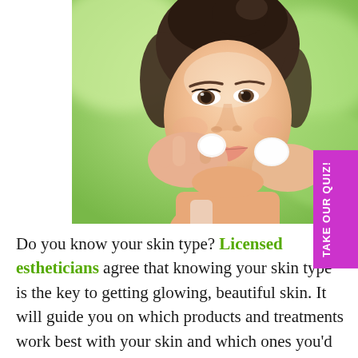[Figure (photo): Young woman applying skincare product to her cheek with a cotton pad, outdoors with green blurred background]
TAKE OUR QUIZ!
Do you know your skin type? Licensed estheticians agree that knowing your skin type is the key to getting glowing, beautiful skin. It will guide you on which products and treatments work best with your skin and which ones you'd be better off avoiding.